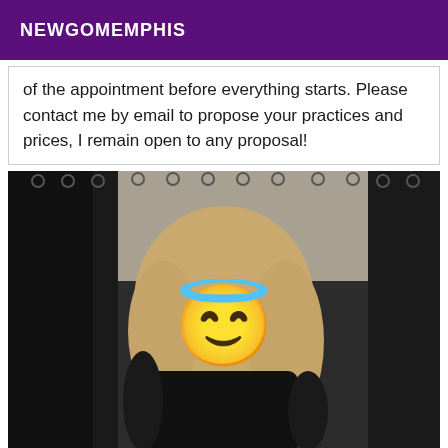NEWGOMEMPHIS
of the appointment before everything starts. Please contact me by email to propose your practices and prices, I remain open to any proposal!
[Figure (photo): Photo of a blonde woman in black outfit standing in front of dark curtains, with an angel emoji overlaid on her face to obscure identity.]